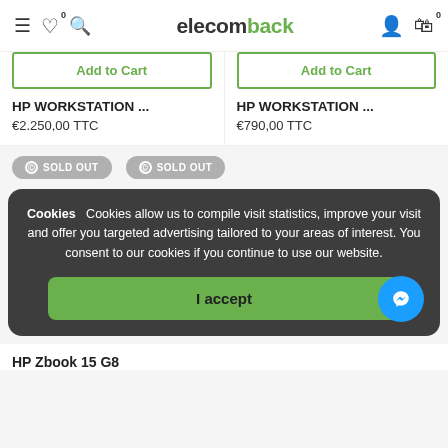elecomback — navigation header with hamburger, wishlist (0), search, logo, user icon, cart (0)
Add to Cart
Add to Cart
HP WORKSTATION ...
€2.250,00 TTC
HP WORKSTATION ...
€790,00 TTC
SOLD OUT
SOLD OUT
Cookies   Cookies allow us to compile visit statistics, improve your visit and offer you targeted advertising tailored to your areas of interest. You consent to our cookies if you continue to use our website.
I accept
HP Zbook 15 G8